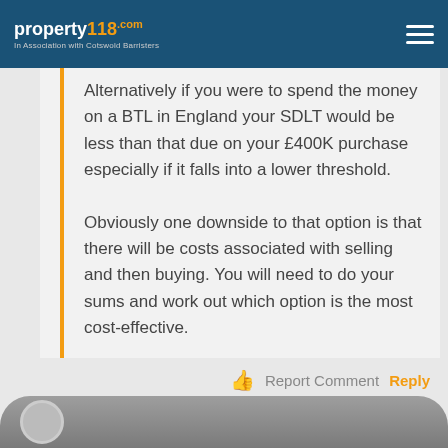property118.com — In Association with Cotswold Barristers
Alternatively if you were to spend the money on a BTL in England your SDLT would be less than that due on your £400K purchase especially if it falls into a lower threshold.

Obviously one downside to that option is that there will be costs associated with selling and then buying. You will need to do your sums and work out which option is the most cost-effective.
Report Comment Reply